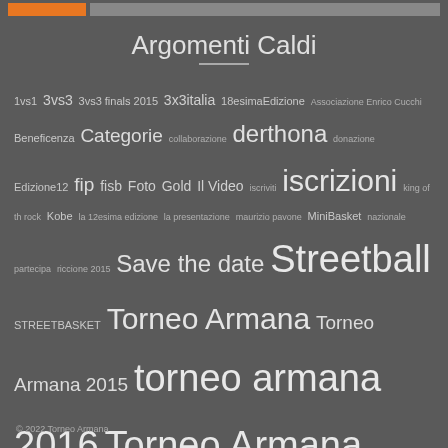Argomenti Caldi
1vs1 3vs3 3vs3 finals 2015 3x3italia 18esimaEdizione Associazione Enrico Cucchi Beneficenza Categorie collaborazione derthona donazione Edizione12 fip fisb Foto Gold Il Video iscriviti iscrizioni king of th rock Kobe la 12esima edizione la presentazione maurizio pavone MiniBasket nazionale partecipa riccione 2015 Save the date Streetball STREETBASKET Torneo Armana Torneo Armana 2015 torneo armana 2016 Torneo Armana 2017 Torneo Armana 2018 torneoarmana2018 Torneo Armana 2019 torneoarmana2019 Torneo Armana 2020 torneoarmana2021 TorneoArmana2022 Tortona UnitedByPassion VIDEO
© 2022 Torneo Armana